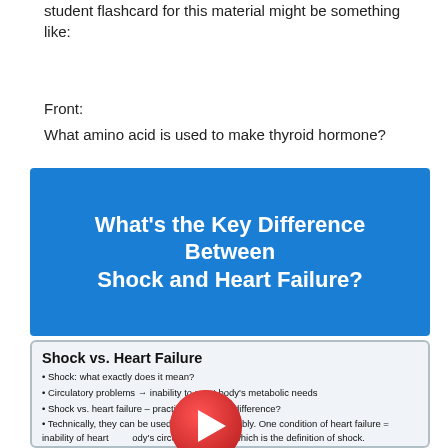student flashcard for this material might be something like:
Front:
What amino acid is used to make thyroid hormone?
[Figure (infographic): Blue banner with bold white text reading: What's the Key Difference Between Shock and Heart Failure?]
[Figure (screenshot): Video card thumbnail showing 'Shock vs. Heart Failure' with bullet points and a play button overlay. Bullets: Shock: what exactly does it mean?, Circulatory problems → inability to meet body's metabolic needs, Shock vs. heart failure – practical's the difference?, Technically, they can be used alterchangeably. One condition of heart failure = inability of heart [to meet] body's circulatory needs, which is the definition of shock., However, typically, people refer to "heart failure" when the problem is primarily with the heart (exception = anemia + "high output heart failure"), or if there is a volume overload situation.]